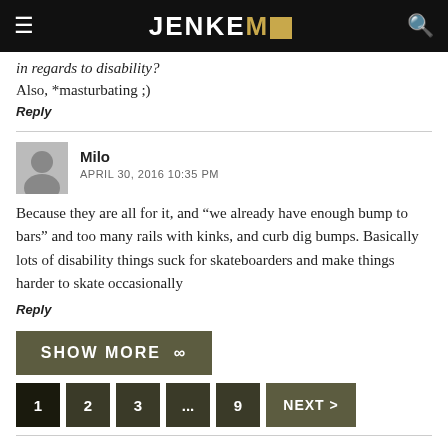JENKEM
in regards to disability?
Also, *masturbating ;)
Reply
Milo
APRIL 30, 2016 10:35 PM
Because they are all for it, and “we already have enough bump to bars” and too many rails with kinks, and curb dig bumps. Basically lots of disability things suck for skateboarders and make things harder to skate occasionally
Reply
SHOW MORE
1 2 3 ... 9 NEXT >
LEAVE A COMMENT
Comment